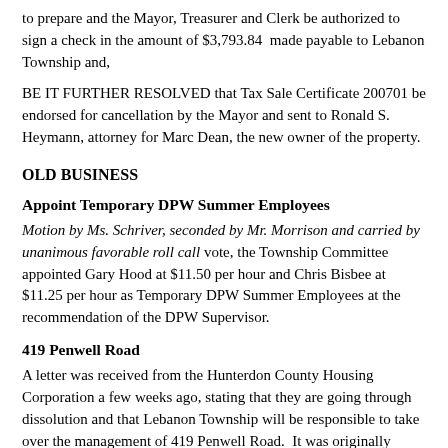to prepare and the Mayor, Treasurer and Clerk be authorized to sign a check in the amount of $3,793.84 made payable to Lebanon Township and,
BE IT FURTHER RESOLVED that Tax Sale Certificate 200701 be endorsed for cancellation by the Mayor and sent to Ronald S. Heymann, attorney for Marc Dean, the new owner of the property.
OLD BUSINESS
Appoint Temporary DPW Summer Employees
Motion by Ms. Schriver, seconded by Mr. Morrison and carried by unanimous favorable roll call vote, the Township Committee appointed Gary Hood at $11.50 per hour and Chris Bisbee at $11.25 per hour as Temporary DPW Summer Employees at the recommendation of the DPW Supervisor.
419 Penwell Road
A letter was received from the Hunterdon County Housing Corporation a few weeks ago, stating that they are going through dissolution and that Lebanon Township will be responsible to take over the management of 419 Penwell Road. It was originally